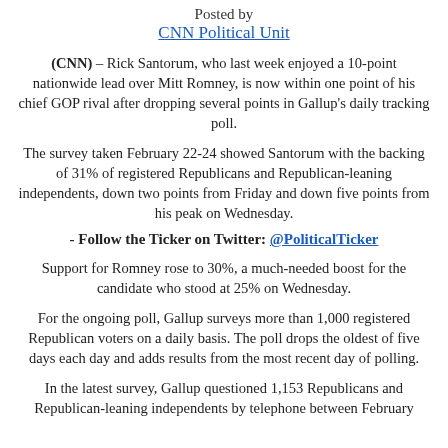Posted by
CNN Political Unit
(CNN) – Rick Santorum, who last week enjoyed a 10-point nationwide lead over Mitt Romney, is now within one point of his chief GOP rival after dropping several points in Gallup's daily tracking poll.
The survey taken February 22-24 showed Santorum with the backing of 31% of registered Republicans and Republican-leaning independents, down two points from Friday and down five points from his peak on Wednesday.
- Follow the Ticker on Twitter: @PoliticalTicker
Support for Romney rose to 30%, a much-needed boost for the candidate who stood at 25% on Wednesday.
For the ongoing poll, Gallup surveys more than 1,000 registered Republican voters on a daily basis. The poll drops the oldest of five days each day and adds results from the most recent day of polling.
In the latest survey, Gallup questioned 1,153 Republicans and Republican-leaning independents by telephone between February